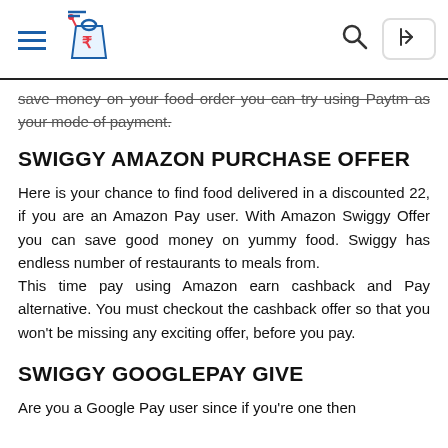Navigation header with hamburger menu, logo, search icon, and login button
save money on your food order you can try using Paytm as your mode of payment.
SWIGGY AMAZON PURCHASE OFFER
Here is your chance to find food delivered in a discounted 22, if you are an Amazon Pay user. With Amazon Swiggy Offer you can save good money on yummy food. Swiggy has endless number of restaurants to meals from. This time pay using Amazon earn cashback and Pay alternative. You must checkout the cashback offer so that you won't be missing any exciting offer, before you pay.
SWIGGY GOOGLEPAY GIVE
Are you a Google Pay user since if you're one then